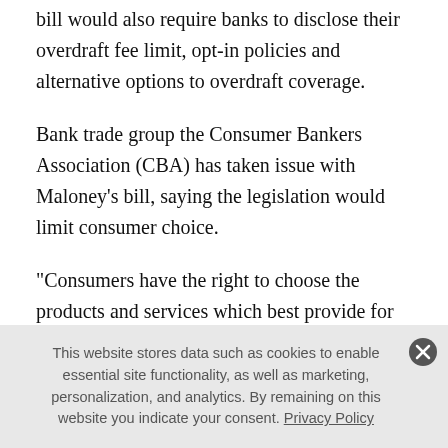bill would also require banks to disclose their overdraft fee limit, opt-in policies and alternative options to overdraft coverage.
Bank trade group the Consumer Bankers Association (CBA) has taken issue with Maloney's bill, saying the legislation would limit consumer choice.
"Consumers have the right to choose the products and services which best provide for their daily financial needs," David Pommerehn, senior vice president and
This website stores data such as cookies to enable essential site functionality, as well as marketing, personalization, and analytics. By remaining on this website you indicate your consent. Privacy Policy